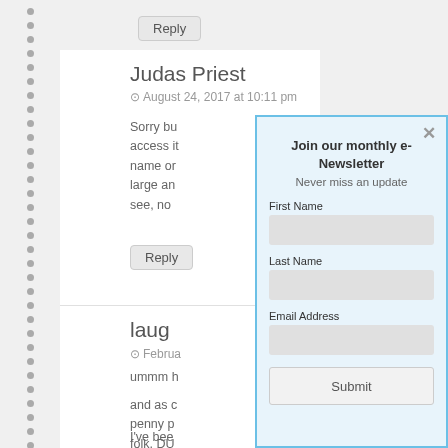Reply
Judas Priest
August 24, 2017 at 10:11 pm
Sorry bu access it name or large an see, no
Reply
laug
Februa
ummm h
and as c penny p folk, DU
I've bee
Join our monthly e-Newsletter
Never miss an update
First Name
Last Name
Email Address
Submit